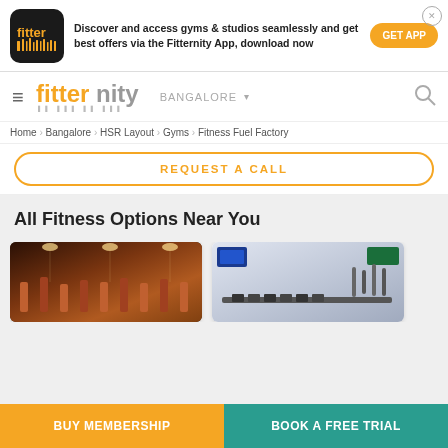[Figure (screenshot): Fitternity app icon - dark background with orange 'fitter' text and barcode-style graphic]
Discover and access gyms & studios seamlessly and get best offers via the Fitternity App, download now
GET APP
[Figure (logo): Fitternity logo with orange and grey text]
BANGALORE ▾
Home › Bangalore › HSR Layout › Gyms › Fitness Fuel Factory
REQUEST A CALL
All Fitness Options Near You
[Figure (photo): Gym interior with equipment, red columns, overhead lights]
[Figure (photo): Gym interior with blue walls and weights/equipment]
BUY MEMBERSHIP
BOOK A FREE TRIAL